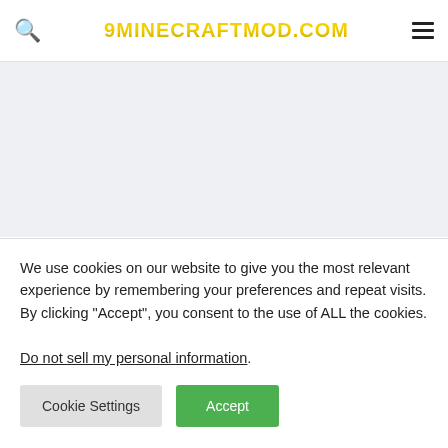9MINECRAFTMOD.COM
Every Compat Mod (1.19.2, 1.18.2) – The Missing Wood Piece for Every Mod ★★★★★ 5 (4)
625 views | 7 days ago | Author: MehVahdJukaar | Mod type: Fabric, Forge
We use cookies on our website to give you the most relevant experience by remembering your preferences and repeat visits. By clicking "Accept", you consent to the use of ALL the cookies.
Do not sell my personal information.